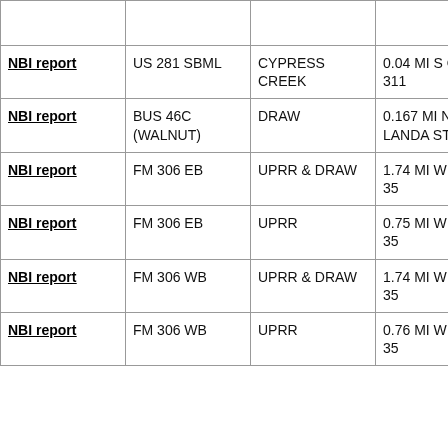|  |  |  |  |
| NBI report | US 281 SBML | CYPRESS CREEK | 0.04 MI S OF FM 311 |
| NBI report | BUS 46C (WALNUT) | DRAW | 0.167 MI NW OF LANDA ST |
| NBI report | FM 306 EB | UPRR & DRAW | 1.74 MI W OF IH 35 |
| NBI report | FM 306 EB | UPRR | 0.75 MI W OF IH 35 |
| NBI report | FM 306 WB | UPRR & DRAW | 1.74 MI W OF IH 35 |
| NBI report | FM 306 WB | UPRR | 0.76 MI W OF IH 35 |